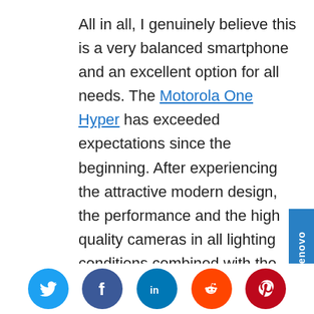All in all, I genuinely believe this is a very balanced smartphone and an excellent option for all needs. The Motorola One Hyper has exceeded expectations since the beginning. After experiencing the attractive modern design, the performance and the high quality cameras in all lighting conditions combined with the personalized sound options, I know this device will be part of my daily
[Figure (logo): Lenovo vertical tab/badge in blue on the right side]
[Figure (infographic): Social media share buttons row: Twitter (blue circle), Facebook (dark blue circle), LinkedIn (blue circle), Reddit (orange circle), Pinterest (red circle)]